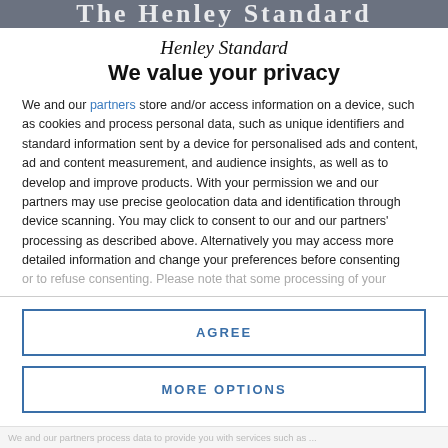The Henley Standard
Henley Standard
We value your privacy
We and our partners store and/or access information on a device, such as cookies and process personal data, such as unique identifiers and standard information sent by a device for personalised ads and content, ad and content measurement, and audience insights, as well as to develop and improve products. With your permission we and our partners may use precise geolocation data and identification through device scanning. You may click to consent to our and our partners' processing as described above. Alternatively you may access more detailed information and change your preferences before consenting or to refuse consenting. Please note that some processing of your...
AGREE
MORE OPTIONS
blurred footer text